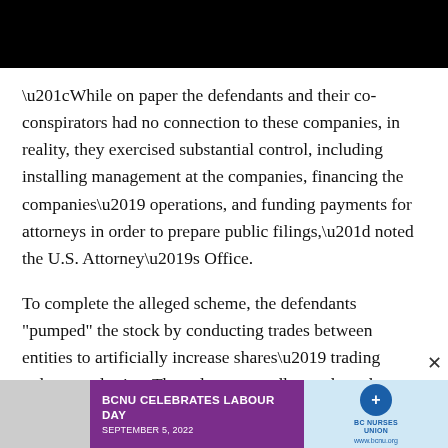[Figure (photo): Black header bar / image area at top of page]
“While on paper the defendants and their co-conspirators had no connection to these companies, in reality, they exercised substantial control, including installing management at the companies, financing the companies’ operations, and funding payments for attorneys in order to prepare public filings,” noted the U.S. Attorney’s Office.
To complete the alleged scheme, the defendants "pumped" the stock by conducting trades between entities to artificially increase shares’ trading volume and price. They also reportedly conducted promotional campaigns that frequently contained false and misleading claims about the companies. They allegedly used "boiler rooms" or call centre…
[Figure (photo): BCNU Celebrates Labour Day advertisement banner — September 5, 2022 — BC Nurses Union logo]